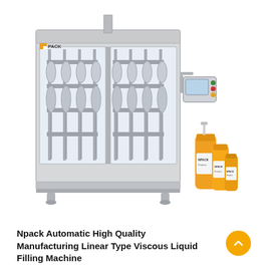[Figure (photo): Npack automatic linear type viscous liquid filling machine — a large stainless steel industrial filling machine with transparent front panels showing internal filling mechanisms, an external control panel mounted on the right side, and three orange/white pump-top bottles shown to the lower right of the machine.]
Npack Automatic High Quality Manufacturing Linear Type Viscous Liquid Filling Machine